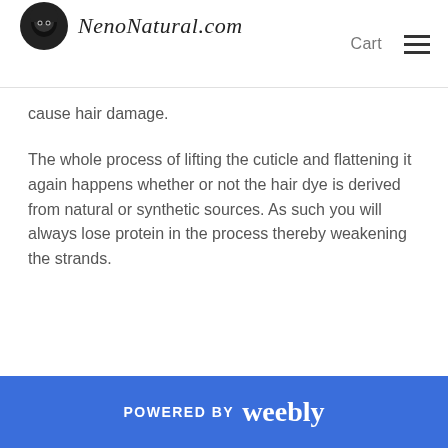NenoNatural.com  Cart
cause hair damage.
The whole process of lifting the cuticle and flattening it again happens whether or not the hair dye is derived from natural or synthetic sources. As such you will always lose protein in the process thereby weakening the strands.
POWERED BY weebly